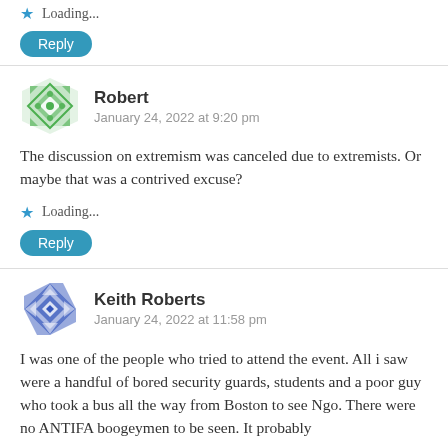Loading...
Reply
Robert
January 24, 2022 at 9:20 pm
The discussion on extremism was canceled due to extremists. Or maybe that was a contrived excuse?
Loading...
Reply
Keith Roberts
January 24, 2022 at 11:58 pm
I was one of the people who tried to attend the event. All i saw were a handful of bored security guards, students and a poor guy who took a bus all the way from Boston to see Ngo. There were no ANTIFA boogeymen to be seen. It probably